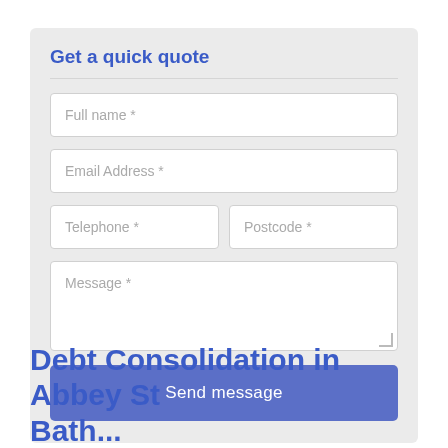Get a quick quote
Full name *
Email Address *
Telephone *
Postcode *
Message *
Send message
Debt Consolidation in Abbey St Bath...